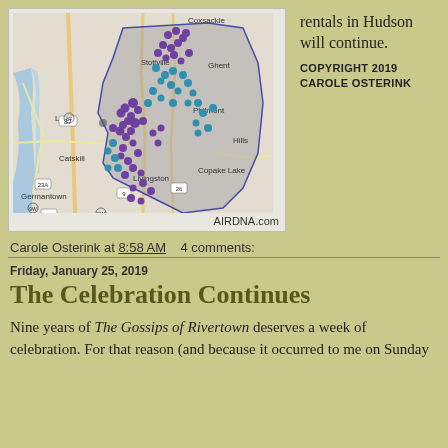[Figure (map): Geographic map showing Columbia County NY area with Airbnb rental locations plotted as purple and teal dots. Shows towns including Coxsackie, Ghent, Leeds, Stottville, Philmont, Catskill, Germantown, Livingston, Copake Lake, Hills. Roads including 87, 9, 23A, 9W, 9G, 26 are visible.]
AIRDNA.com
rentals in Hudson will continue.
COPYRIGHT 2019
CAROLE OSTERINK
Carole Osterink at 8:58 AM   4 comments:
Friday, January 25, 2019
The Celebration Continues
Nine years of The Gossips of Rivertown deserves a week of celebration. For that reason (and because it occurred to me on Sunday...